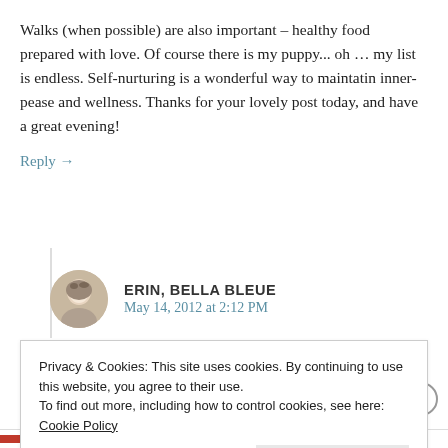Walks (when possible) are also important – healthy food prepared with love. Of course there is my puppy... oh … my list is endless. Self-nurturing is a wonderful way to maintatin inner-pease and wellness. Thanks for your lovely post today, and have a great evening!
Reply →
ERIN, BELLA BLEUE
May 14, 2012 at 2:12 PM
Privacy & Cookies: This site uses cookies. By continuing to use this website, you agree to their use.
To find out more, including how to control cookies, see here: Cookie Policy
Close and accept